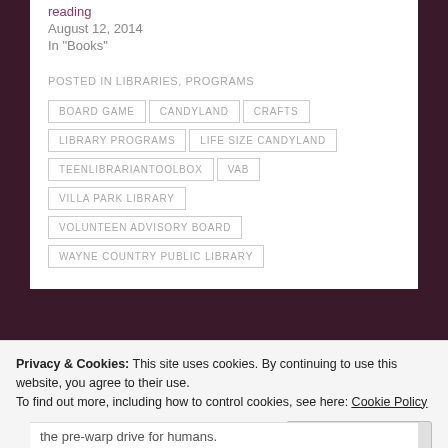reading
August 12, 2014
In "Books"
POSTED IN LIBRARIES, PROGRAMS
BOARD GAME
CANDYLAND
CRAFTS
LIBRARY PROGRAMS
LIFE SIZE CANDYLAND
TEENLIBRARIANTOOLBOX
VAB
VILLA PARK LIBRARY
VOLUNTEEN ADVISORY BOARD
WAYNE COUNTRY PUBLIC LIBRARY
Privacy & Cookies: This site uses cookies. By continuing to use this website, you agree to their use. To find out more, including how to control cookies, see here: Cookie Policy
Close and accept
the pre-warp drive for humans.